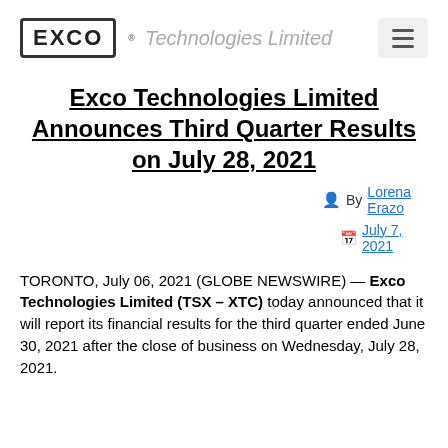[Figure (logo): Exco Technologies Limited logo with EXCO in a bordered box and 'Technologies Limited' in grey italic text, plus hamburger menu icon]
Exco Technologies Limited Announces Third Quarter Results on July 28, 2021
By Lorena Erazo
July 7, 2021
TORONTO, July 06, 2021 (GLOBE NEWSWIRE) — Exco Technologies Limited (TSX – XTC) today announced that it will report its financial results for the third quarter ended June 30, 2021 after the close of business on Wednesday, July 28, 2021.